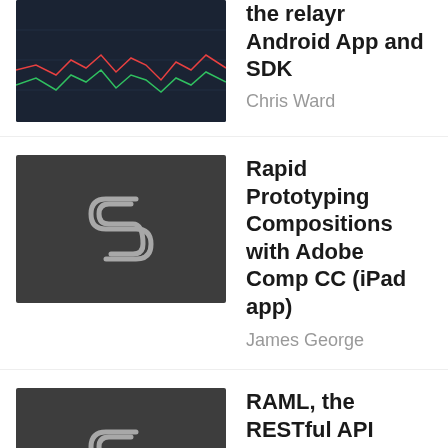[Figure (continuous-plot): Dark navy chart thumbnail showing red and green line graph with fluctuating data]
the relayr Android App and SDK
Chris Ward
[Figure (logo): Dark grey square with stylized S-shaped logo made of geometric lines]
Rapid Prototyping Compositions with Adobe Comp CC (iPad app)
James George
[Figure (logo): Dark grey square with stylized S-shaped logo made of geometric lines]
RAML, the RESTful API Modeling Language
Lukas White
[Figure (logo): Dark grey square with stylized S-shaped logo made of geometric lines]
Rapid Responsive Development with Sass and Flint